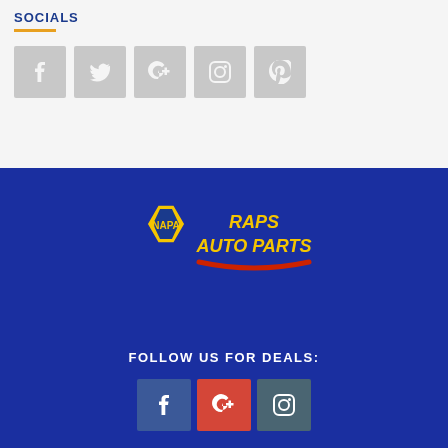SOCIALS
[Figure (illustration): Five social media icon buttons (Facebook, Twitter, Google+, Instagram, Pinterest) in gray square boxes]
[Figure (logo): NAPA Raps Auto Parts logo on dark blue background. NAPA hexagon logo with yellow text 'RAPS AUTO PARTS' and red underline swoosh.]
FOLLOW US FOR DEALS:
[Figure (illustration): Three social media icon buttons (Facebook in blue, Google+ in red, Instagram in teal/gray) on dark blue background]